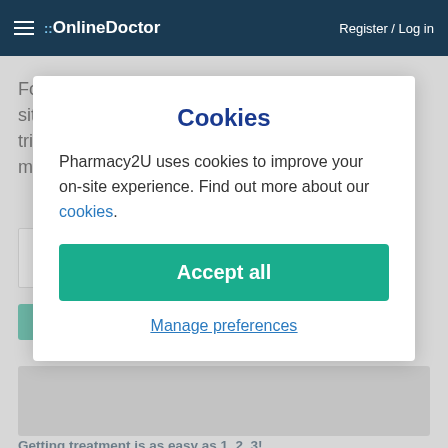≡ ::OnlineDoctor    Register / Log in
Fortunately, there are lots of ways to treat situational anxiety. Becoming mindful of your triggers and symptoms is the first step towards managing them so you can live a less stressful li
Cookies
Pharmacy2U uses cookies to improve your on-site experience. Find out more about our cookies.
Accept all
Manage preferences
Getting treatment is as easy as 1, 2, 3!
1.   2. Our GPs prescribe   3.